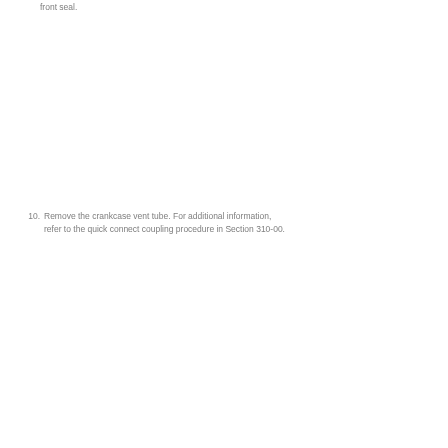front seal.
10. Remove the crankcase vent tube. For additional information, refer to the quick connect coupling procedure in Section 310-00.